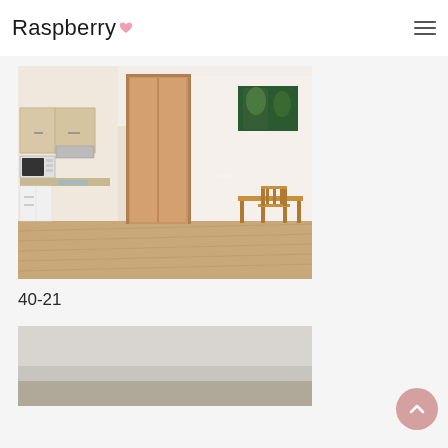Raspberry [logo with heart icon] — hamburger menu
[Figure (photo): Interior photo of a studio apartment showing a kitchenette on the left with light wood cabinets, a white refrigerator and white appliances, laminate flooring, a sliding wooden door in the center leading to another room, and a wooden table and chair on the right with a green-themed painting on the white wall above.]
40-21
[Figure (photo): Partial view of another apartment interior, appears gray/muted tones, bottom of page.]